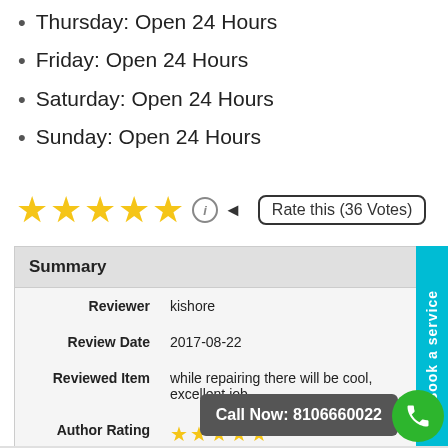Thursday: Open 24 Hours
Friday: Open 24 Hours
Saturday:  Open 24 Hours
Sunday: Open 24 Hours
★★★★★ (i) Rate this (36 Votes)
|  |  |
| --- | --- |
| Summary |  |
| Reviewer | kishore |
| Review Date | 2017-08-22 |
| Reviewed Item | while repairing there will be cool, excellent job. |
| Author Rating | ★★★★★ |
Call Now: 8106660022